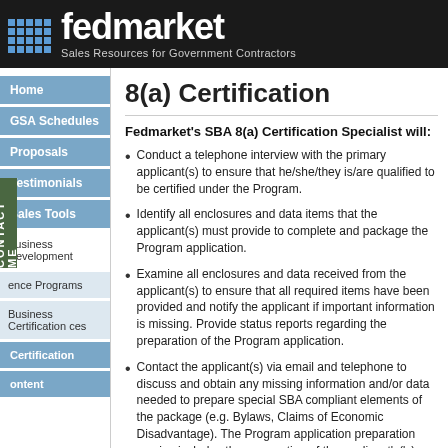fedmarket - Sales Resources for Government Contractors
Home
GSA Schedules
Proposals
Testimonials
Sales Tools
Business Development
ence Programs
Business Certification ces
Certification
ontent
8(a) Certification
Fedmarket's SBA 8(a) Certification Specialist will:
Conduct a telephone interview with the primary applicant(s) to ensure that he/she/they is/are qualified to be certified under the Program.
Identify all enclosures and data items that the applicant(s) must provide to complete and package the Program application.
Examine all enclosures and data received from the applicant(s) to ensure that all required items have been provided and notify the applicant if important information is missing. Provide status reports regarding the preparation of the Program application.
Contact the applicant(s) via email and telephone to discuss and obtain any missing information and/or data needed to prepare special SBA compliant elements of the package (e.g. Bylaws, Claims of Economic Disadvantage). The Program application preparation service includes the preparation of the applicant's('s) economic narrative needed to prove economic disadvantage.
Complete the Program application, ensuring that it is totally comprehensive and in conformance with